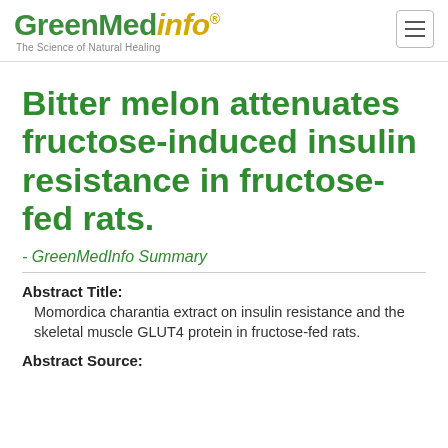GreenMedInfo - The Science of Natural Healing
Bitter melon attenuates fructose-induced insulin resistance in fructose-fed rats.
- GreenMedInfo Summary
Abstract Title:
Momordica charantia extract on insulin resistance and the skeletal muscle GLUT4 protein in fructose-fed rats.
Abstract Source: